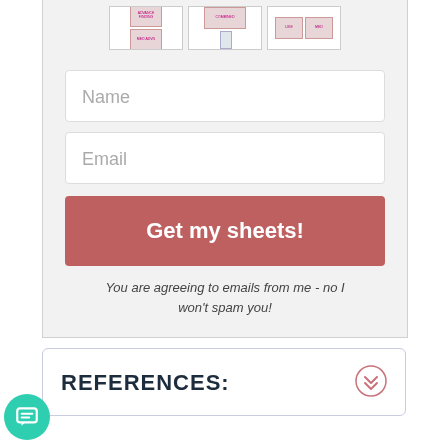[Figure (screenshot): Row of spreadsheet thumbnail previews at the top of a form card]
Name
Email
Get my sheets!
You are agreeing to emails from me - no I won't spam you!
REFERENCES:
[Figure (illustration): Chat bubble icon (teal circle with speech bubble icon)]
[Figure (illustration): Double chevron down icon in pink/rose circle]